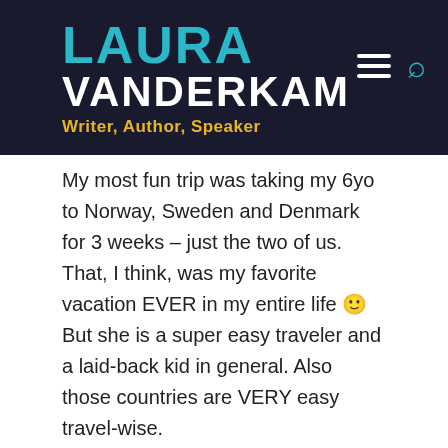LAURA VANDERKAM — Writer, Author, Speaker
My most fun trip was taking my 6yo to Norway, Sweden and Denmark for 3 weeks – just the two of us. That, I think, was my favorite vacation EVER in my entire life 🙂 But she is a super easy traveler and a laid-back kid in general. Also those countries are VERY easy travel-wise.
We have never taken our now 5yo on a flight longer than 2.5 hours ☺ though she has been on a couple of multi-day road trips. She is one that has trouble with changes to the routine, so trips to Disneyland and grandparents in AZ were always HARD just because she's not a great traveler, or happy about sleeping in strange places. So we felt like it wasn't just a matter